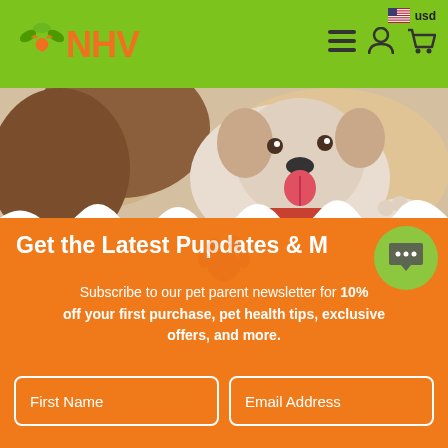NHV - usd - navigation header with menu, account and cart icons
[Figure (photo): Photo of a dog (appears to be a Bulldog or similar breed) with tongue out, next to a person with long hair, outdoor setting]
Get the Latest Pupdates & More
Subscribe to our pet parent newsletter for 10% off your first purchase, pet health tips, exclusive offers, and more.